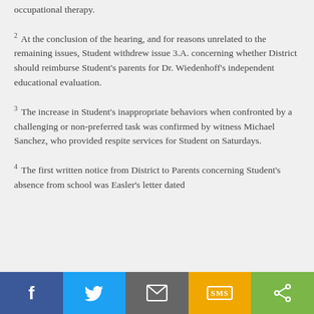occupational therapy.
2 At the conclusion of the hearing, and for reasons unrelated to the remaining issues, Student withdrew issue 3.A. concerning whether District should reimburse Student's parents for Dr. Wiedenhoff's independent educational evaluation.
3 The increase in Student's inappropriate behaviors when confronted by a challenging or non-preferred task was confirmed by witness Michael Sanchez, who provided respite services for Student on Saturdays.
4 The first written notice from District to Parents concerning Student's absence from school was Easler's letter dated